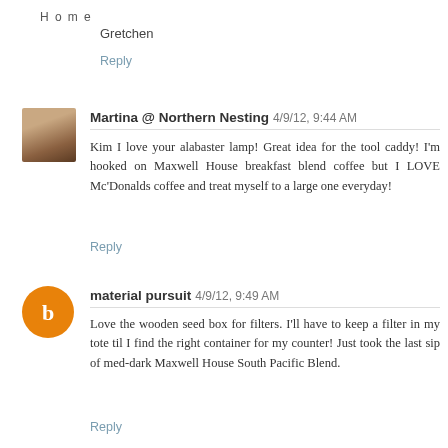Home
Gretchen
Reply
Martina @ Northern Nesting 4/9/12, 9:44 AM
Kim I love your alabaster lamp! Great idea for the tool caddy! I'm hooked on Maxwell House breakfast blend coffee but I LOVE Mc'Donalds coffee and treat myself to a large one everyday!
Reply
material pursuit 4/9/12, 9:49 AM
Love the wooden seed box for filters. I'll have to keep a filter in my tote til I find the right container for my counter! Just took the last sip of med-dark Maxwell House South Pacific Blend.
Reply